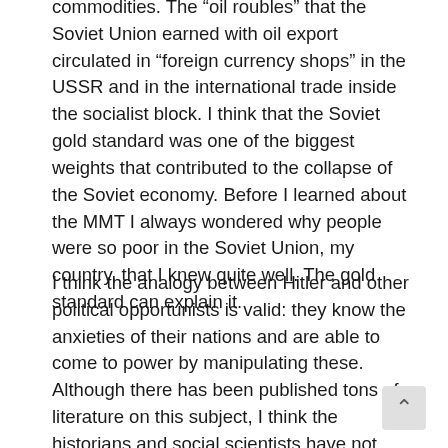commodities. The “oil roubles” that the Soviet Union earned with oil export circulated in “foreign currency shops” in the USSR and in the international trade inside the socialist block. I think that the Soviet gold standard was one of the biggest weights that contributed to the collapse of the Soviet economy. Before I learned about the MMT I always wondered why people were so poor in the Soviet Union, my country, that I knew quite well. The gold standard can explain it.
I think the analogy between Hitler and other political opportunists is valid: they know the anxieties of their nations and are able to come to power by manipulating these. Although there has been published tons of literature on this subject, I think the historians and social scientists have not actually spotted it what Stalin, another opportunist, actually did and what the social structure of his one party system actually was in the economic and political sense. The researchers still have not penetrated through the many layers